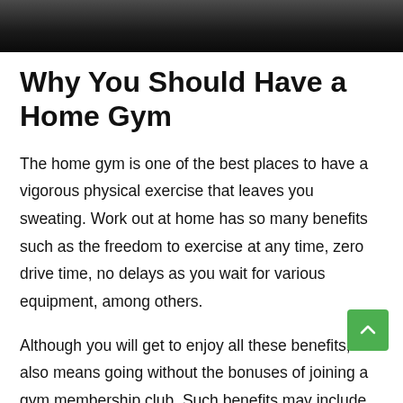[Figure (photo): Dark gradient header image, black to dark gray]
Why You Should Have a Home Gym
The home gym is one of the best places to have a vigorous physical exercise that leaves you sweating. Work out at home has so many benefits such as the freedom to exercise at any time, zero drive time, no delays as you wait for various equipment, among others.
Although you will get to enjoy all these benefits, it also means going without the bonuses of joining a gym membership club. Such benefits may include experiencing a wide choice of strength equipment which are accessible at the local club.
Remember, not everyone can manage to set up a private g... but if you can, then move forward and establish one. A perfect